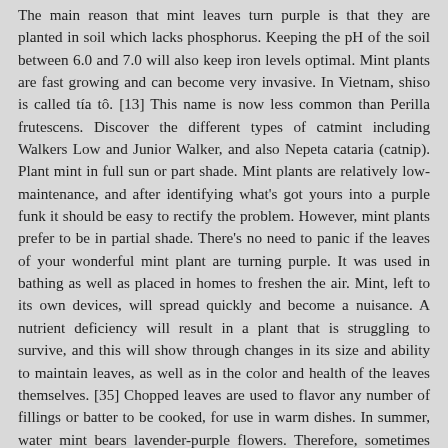The main reason that mint leaves turn purple is that they are planted in soil which lacks phosphorus. Keeping the pH of the soil between 6.0 and 7.0 will also keep iron levels optimal. Mint plants are fast growing and can become very invasive. In Vietnam, shiso is called tía tô. [13] This name is now less common than Perilla frutescens. Discover the different types of catmint including Walkers Low and Junior Walker, and also Nepeta cataria (catnip). Plant mint in full sun or part shade. Mint plants are relatively low-maintenance, and after identifying what's got yours into a purple funk it should be easy to rectify the problem. However, mint plants prefer to be in partial shade. There's no need to panic if the leaves of your wonderful mint plant are turning purple. It was used in bathing as well as placed in homes to freshen the air. Mint, left to its own devices, will spread quickly and become a nuisance. A nutrient deficiency will result in a plant that is struggling to survive, and this will show through changes in its size and ability to maintain leaves, as well as in the color and health of the leaves themselves. [35] Chopped leaves are used to flavor any number of fillings or batter to be cooked, for use in warm dishes. In summer, water mint bears lavender-purple flowers. Therefore, sometimes even when the nutrients are present, the plant just isn't able to benefit from them! Purple Shiso Perilla's attractive fragrant pointy leaves remain deep purple in color with distinctive burgundy